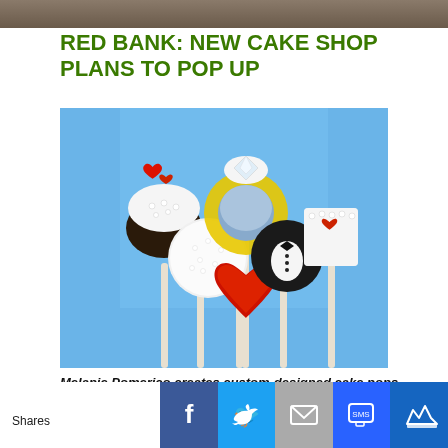[Figure (photo): Top decorative image bar, partial image of food or decor]
RED BANK: NEW CAKE SHOP PLANS TO POP UP
[Figure (photo): Photo of decorative cake pops on sticks: a cupcake with heart, a sparkly ball, a yellow ring, a red heart, a tuxedo, and a wedding cake slab, all on white sticks against a blue background]
Melanie Pomerico creates custom-designed cake pops for many occasions, such as weddings (above), holidays, themed
Shares